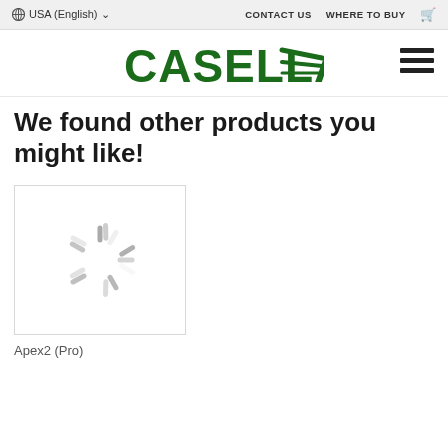USA (English)   CONTACT US   WHERE TO BUY
[Figure (logo): Casella logo with green text and diagonal lines]
We found other products you might like!
[Figure (other): Loading spinner icon (gray radial lines) inside a product card box]
Apex2 (Pro)